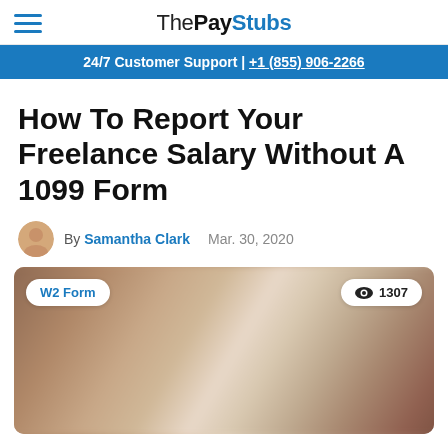ThePayStubs — 24/7 Customer Support | +1 (855) 906-2266
How To Report Your Freelance Salary Without A 1099 Form
By Samantha Clark   Mar. 30, 2020
[Figure (photo): Blurred featured image with W2 Form badge and 1307 views counter]